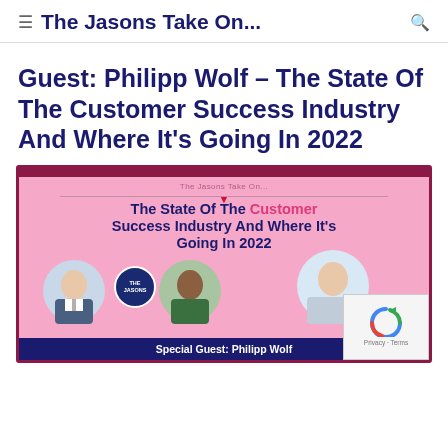≡  The Jasons Take On...  🔍
Guest: Philipp Wolf – The State Of The Customer Success Industry And Where It's Going In 2022
[Figure (other): Podcast episode thumbnail image for 'The Jasons Take On...' showing the episode title 'The State Of The Customer Success Industry And Where It's Going In 2022' with photos of three people and a banner reading 'Special Guest: Philipp Wolf'. Pink background with dark navy border and accents.]